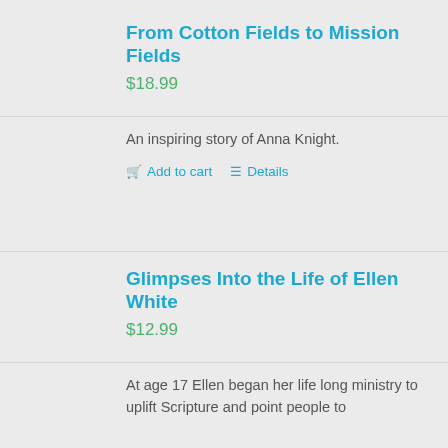From Cotton Fields to Mission Fields
$18.99
An inspiring story of Anna Knight.
Add to cart  Details
Glimpses Into the Life of Ellen White
$12.99
At age 17 Ellen began her life long ministry to uplift Scripture and point people to